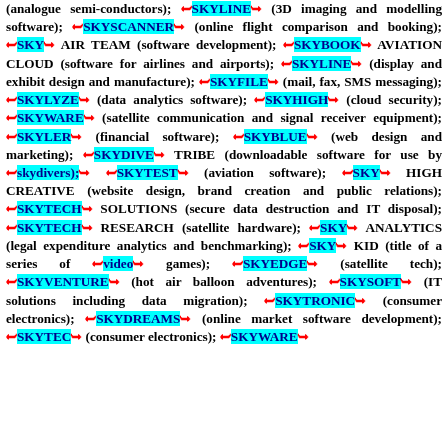(analogue semi-conductors); SKYLINE (3D imaging and modelling software); SKYSCANNER (online flight comparison and booking); SKY AIR TEAM (software development); SKYBOOK AVIATION CLOUD (software for airlines and airports); SKYLINE (display and exhibit design and manufacture); SKYFILE (mail, fax, SMS messaging); SKYLYZE (data analytics software); SKYHIGH (cloud security); SKYWARE (satellite communication and signal receiver equipment); SKYLER (financial software); SKYBLUE (web design and marketing); SKYDIVE TRIBE (downloadable software for use by skydivers); SKYTEST (aviation software); SKY HIGH CREATIVE (website design, brand creation and public relations); SKYTECH SOLUTIONS (secure data destruction and IT disposal); SKYTECH RESEARCH (satellite hardware); SKY ANALYTICS (legal expenditure analytics and benchmarking); SKY KID (title of a series of video games); SKYEDGE (satellite tech); SKYVENTURE (hot air balloon adventures); SKYSOFT (IT solutions including data migration); SKYTRONIC (consumer electronics); SKYDREAMS (online market software development); SKYTEC (consumer electronics); SKYWARE...